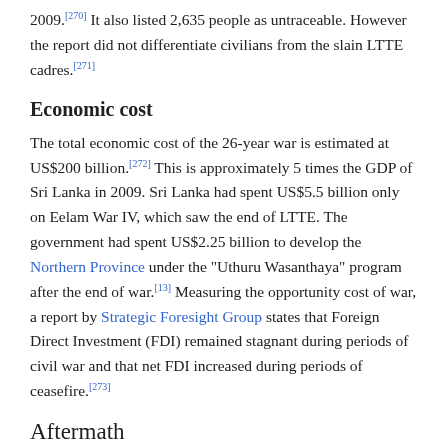2009.[270] It also listed 2,635 people as untraceable. However the report did not differentiate civilians from the slain LTTE cadres.[271]
Economic cost
The total economic cost of the 26-year war is estimated at US$200 billion.[272] This is approximately 5 times the GDP of Sri Lanka in 2009. Sri Lanka had spent US$5.5 billion only on Eelam War IV, which saw the end of LTTE. The government had spent US$2.25 billion to develop the Northern Province under the "Uthuru Wasanthaya" program after the end of war.[13] Measuring the opportunity cost of war, a report by Strategic Foresight Group states that Foreign Direct Investment (FDI) remained stagnant during periods of civil war and that net FDI increased during periods of ceasefire.[273]
Aftermath
A political solution
After the complete military defeat of the LTTE, President Mahinda Rajapaksa announced that the government is committed to a